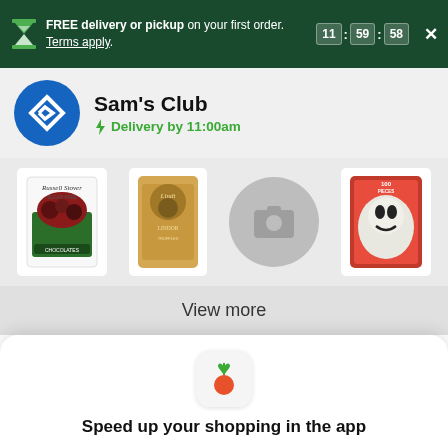FREE delivery or pickup on your first order. Terms apply. 11 : 59 : 58
Sam's Club
Delivery by 11:00am
[Figure (screenshot): Product images row: Russell Stover Sugar Free chocolates, Lindt gold box chocolates, placeholder image icon, and Halloween Frankford candy bag]
View more
[Figure (logo): Instacart carrot app icon]
Speed up your shopping in the app
Continue in app
Continue in browser